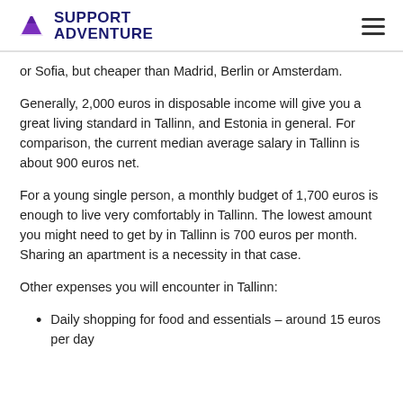Support Adventure
or Sofia, but cheaper than Madrid, Berlin or Amsterdam.
Generally, 2,000 euros in disposable income will give you a great living standard in Tallinn, and Estonia in general. For comparison, the current median average salary in Tallinn is about 900 euros net.
For a young single person, a monthly budget of 1,700 euros is enough to live very comfortably in Tallinn. The lowest amount you might need to get by in Tallinn is 700 euros per month. Sharing an apartment is a necessity in that case.
Other expenses you will encounter in Tallinn:
Daily shopping for food and essentials – around 15 euros per day